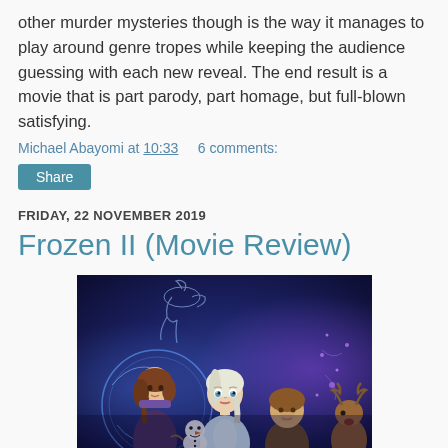other murder mysteries though is the way it manages to play around genre tropes while keeping the audience guessing with each new reveal. The end result is a movie that is part parody, part homage, but full-blown satisfying.
Michael Abayomi at 10:33   6 comments:
Share
FRIDAY, 22 NOVEMBER 2019
Frozen II (Movie Review)
[Figure (photo): Movie poster for Frozen II showing animated characters including Elsa (white-haired), Anna (brown-haired), Kristoff, Olaf the snowman, and Sven the reindeer against a dark blue/purple magical background with glowing lights and a spirit horse.]